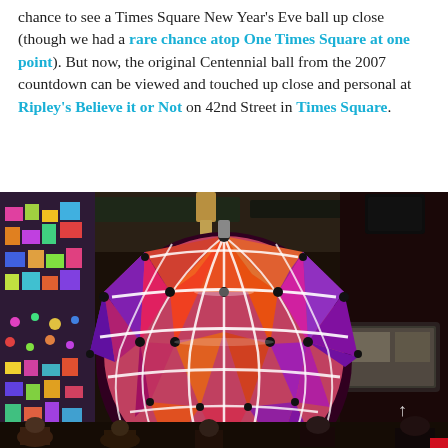chance to see a Times Square New Year's Eve ball up close (though we had a rare chance atop One Times Square at one point). But now, the original Centennial ball from the 2007 countdown can be viewed and touched up close and personal at Ripley's Believe it or Not on 42nd Street in Times Square.
[Figure (photo): A large colorful New Year's Eve ball covered in orange, red, and purple crystal panels with white LED strips, hanging inside what appears to be Ripley's Believe It or Not museum in Times Square, with people visible below and colorful confetti on the wall to the left.]